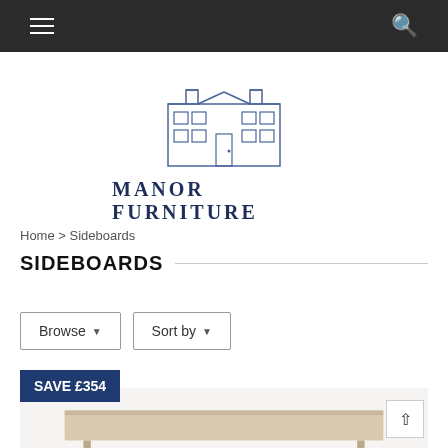Navigation bar with hamburger menu and search icon
[Figure (logo): Manor Furniture logo: outline illustration of a manor house building above the text MANOR FURNITURE in dark navy serif capitals]
Home > Sideboards
SIDEBOARDS
Browse ▾   Sort by ▾
SAVE £354
[Figure (photo): Partial view of a light wood sideboard product on a light grey/beige background]